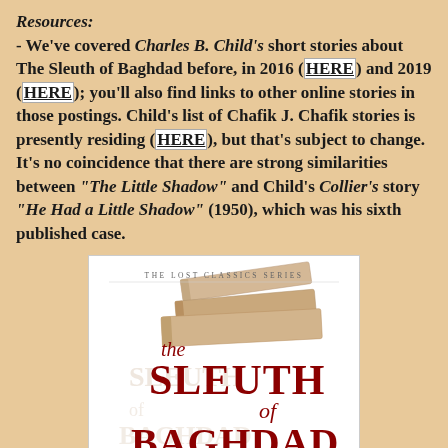Resources:
- We've covered Charles B. Child's short stories about The Sleuth of Baghdad before, in 2016 (HERE) and 2019 (HERE); you'll also find links to other online stories in those postings. Child's list of Chafik J. Chafik stories is presently residing (HERE), but that's subject to change. It's no coincidence that there are strong similarities between "The Little Shadow" and Child's Collier's story "He Had a Little Shadow" (1950), which was his sixth published case.
[Figure (photo): Book cover of 'The Sleuth of Baghdad' from The Lost Classics Series, showing the title in large decorative red/maroon lettering with stacked books graphic in the background]